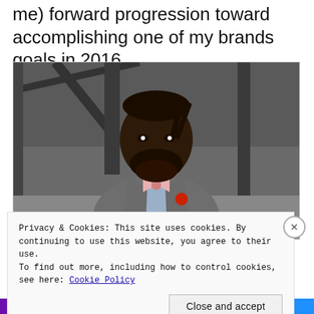me) forward progression toward accomplishing one of my brands goals in 2016.
[Figure (photo): Portrait of a smiling man with a beard wearing a grey suit, light blue shirt, pink bow tie, and red pocket square, standing in front of a dark industrial structure.]
Privacy & Cookies: This site uses cookies. By continuing to use this website, you agree to their use.
To find out more, including how to control cookies, see here: Cookie Policy
Close and accept